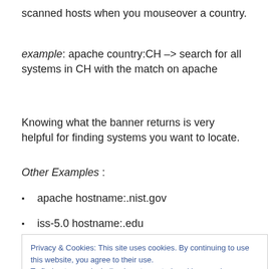scanned hosts when you mouseover a country.
example: apache country:CH –> search for all systems in CH with the match on apache
Knowing what the banner returns is very helpful for finding systems you want to locate.
Other Examples :
apache hostname:.nist.gov
iss-5.0 hostname:.edu
Privacy & Cookies: This site uses cookies. By continuing to use this website, you agree to their use. To find out more, including how to control cookies, see here: Cookie Policy
Telnet 23